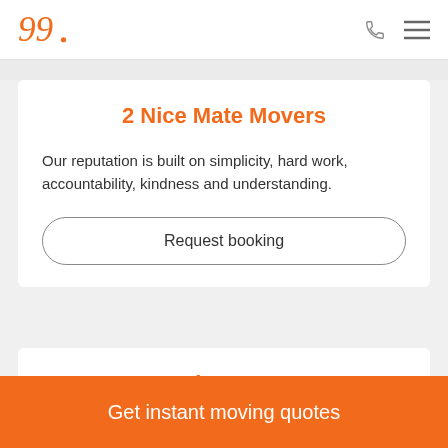2 Nice Mate Movers logo, phone icon, menu icon
2 Nice Mate Movers
Our reputation is built on simplicity, hard work, accountability, kindness and understanding.
Request booking
Moving Mates
Get instant moving quotes